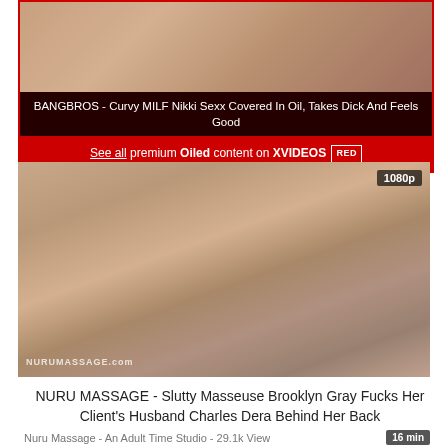[Figure (screenshot): Ad banner with red background showing a video thumbnail and promotional call-to-action for XVIDEOS RED premium oiled content]
BANGBROS - Curvy MILF Nikki Sexx Covered In Oil, Takes Dick And Feels Good
See all premium Oiled content on XVIDEOS RED
[Figure (screenshot): Video thumbnail for NURU MASSAGE video showing adult content, with 1080p badge and NuruMassage.com watermark]
NURU MASSAGE - Slutty Masseuse Brooklyn Gray Fucks Her Client's Husband Charles Dera Behind Her Back
Nuru Massage - An Adult Time Studio - 29.1k View  16 min